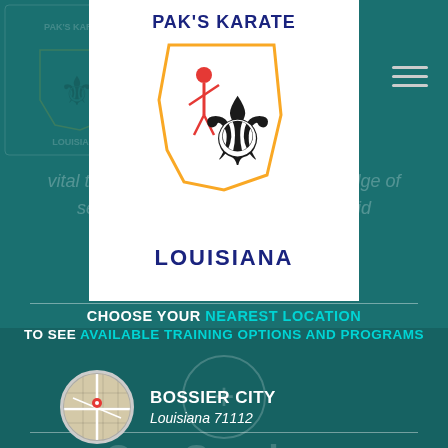[Figure (logo): Pak's Karate Louisiana logo watermark top-left corner, semi-transparent]
[Figure (logo): Pak's Karate Louisiana logo centered at top, white background panel, showing Louisiana state outline with fleur-de-lis and karate figure, text PAK'S KARATE LOUISIANA in navy/yellow]
vital that everyone has a basic knowledge of self defense and knows how to avoid dangerous situations
CHOOSE YOUR NEAREST LOCATION TO SEE AVAILABLE TRAINING OPTIONS AND PROGRAMS
[Figure (map): Circular map thumbnail showing Bossier City location with red pin]
BOSSIER CITY
Louisiana 71112
[Figure (map): Circular map thumbnail showing Haughton location with red pin]
HAUGHTON
Louisiana 71037
Our Services
Our elite trainers offer a range of services to match your fitness goals